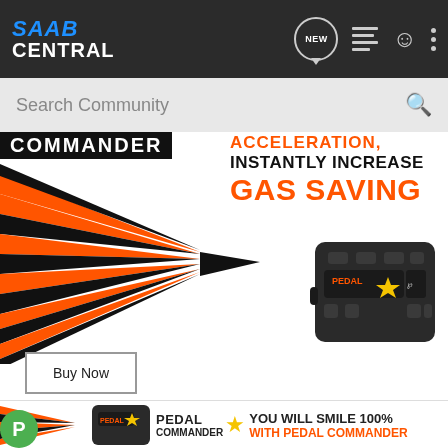SAAB CENTRAL
Search Community
[Figure (screenshot): Pedal Commander advertisement banner showing orange lightning bolt arrows graphic on left, a Pedal Commander device on the right, and text reading 'COMMANDER', 'ACCELERATION, INSTANTLY INCREASE GAS SAVING']
Buy Now
[Figure (infographic): Bottom ad strip showing Pedal Commander logo, orange arrows, device image, star icon, and text: YOU WILL SMILE 100% WITH PEDAL COMMANDER]